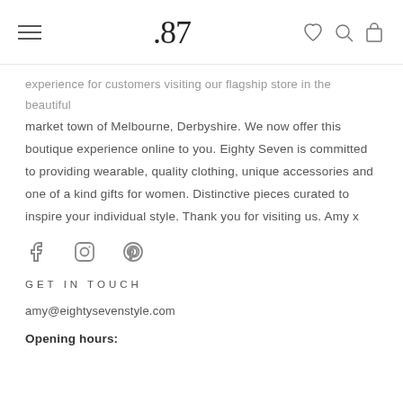.87
experience for customers visiting our flagship store in the beautiful market town of Melbourne, Derbyshire. We now offer this boutique experience online to you. Eighty Seven is committed to providing wearable, quality clothing, unique accessories and one of a kind gifts for women. Distinctive pieces curated to inspire your individual style. Thank you for visiting us. Amy x
[Figure (other): Social media icons: Facebook, Instagram, Pinterest]
GET IN TOUCH
amy@eightysevenstyle.com
Opening hours: